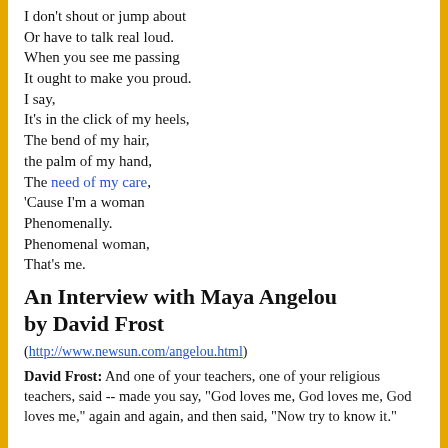I don't shout or jump about
Or have to talk real loud.
When you see me passing
It ought to make you proud.
I say,
It's in the click of my heels,
The bend of my hair,
the palm of my hand,
The need of my care,
'Cause I'm a woman
Phenomenally.
Phenomenal woman,
That's me.
An Interview with Maya Angelou by David Frost
(http://www.newsun.com/angelou.html)
David Frost: And one of your teachers, one of your religious teachers, said -- made you say, "God loves me, God loves me, God loves me," again and again, and then said, "Now try to know it."